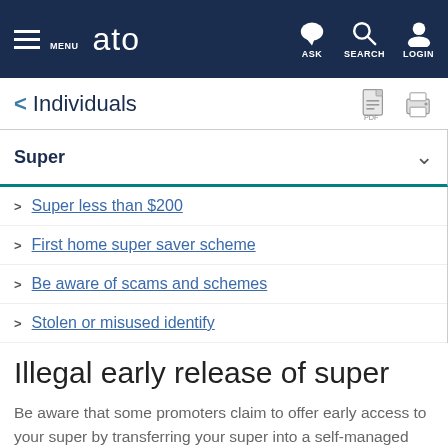MENU | ato | ASK | SEARCH | LOGIN
< Individuals
Super
Super less than $200
First home super saver scheme
Be aware of scams and schemes
Stolen or misused identify
Illegal early release of super
Be aware that some promoters claim to offer early access to your super by transferring your super into a self-managed super fund. These schemes are illegal and heavy penalties apply if you get